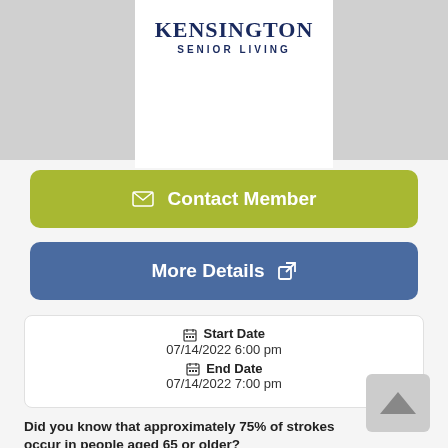[Figure (logo): Kensington Senior Living logo with text 'KENSINGTON' and 'SENIOR LIVING', flanked by gray image panels on left and right]
Contact Member
More Details
Start Date
07/14/2022 6:00 pm
End Date
07/14/2022 7:00 pm
Did you know that approximately 75% of strokes occur in people aged 65 or older?